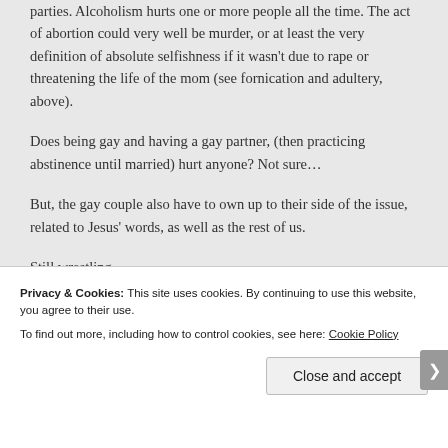parties. Alcoholism hurts one or more people all the time. The act of abortion could very well be murder, or at least the very definition of absolute selfishness if it wasn't due to rape or threatening the life of the mom (see fornication and adultery, above).
Does being gay and having a gay partner, (then practicing abstinence until married) hurt anyone? Not sure…
But, the gay couple also have to own up to their side of the issue, related to Jesus' words, as well as the rest of us.
Still wrestling…
Privacy & Cookies: This site uses cookies. By continuing to use this website, you agree to their use.
To find out more, including how to control cookies, see here: Cookie Policy